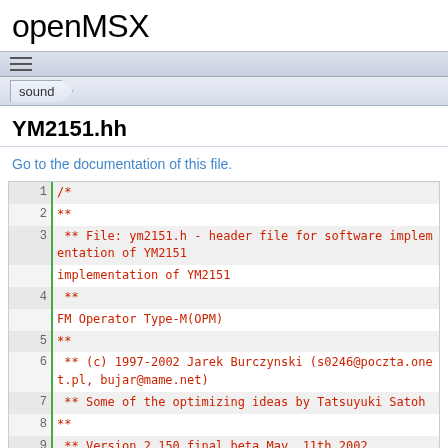openMSX
YM2151.hh
Go to the documentation of this file.
1  /*
2   **
3   ** File: ym2151.h - header file for software implementation of YM2151
4   **
   FM Operator Type-M(OPM)
5   **
6   ** (c) 1997-2002 Jarek Burczynski (s0246@poczta.onet.pl, bujar@mame.net)
7   ** Some of the optimizing ideas by Tatsuyuki Satoh
8   **
9   ** Version 2.150 final beta May, 11th 2002
10  **
11  **
12  ** I would like to thank following people for making this project possible:
13  **